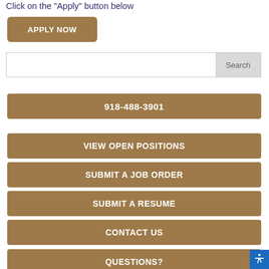Click on the "Apply" button below
APPLY NOW
Search
918-488-3901
VIEW OPEN POSITIONS
SUBMIT A JOB ORDER
SUBMIT A RESUME
CONTACT US
QUESTIONS?